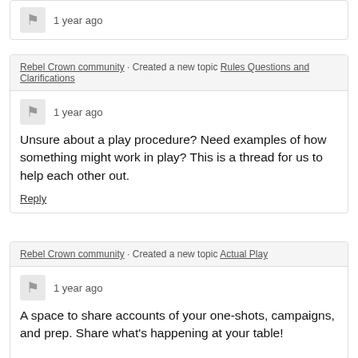1 year ago
Rebel Crown community · Created a new topic Rules Questions and Clarifications
1 year ago
Unsure about a play procedure?  Need examples of how something might work in play?  This is a thread for us to help each other out.
Reply
Rebel Crown community · Created a new topic Actual Play
1 year ago
A space to share accounts of your one-shots, campaigns, and prep.  Share what's happening at your table!